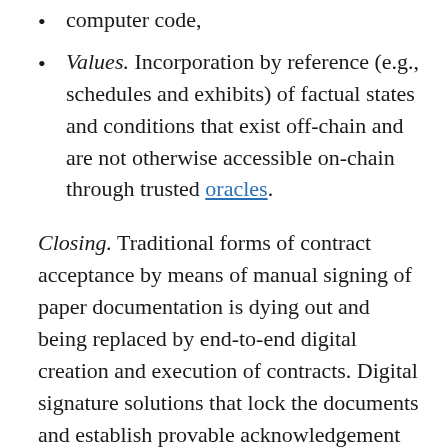computer code,
Values. Incorporation by reference (e.g., schedules and exhibits) of factual states and conditions that exist off-chain and are not otherwise accessible on-chain through trusted oracles.
Closing. Traditional forms of contract acceptance by means of manual signing of paper documentation is dying out and being replaced by end-to-end digital creation and execution of contracts. Digital signature solutions that lock the documents and establish provable acknowledgement by the signing party are already commonplace. What is lacking (and what blockchains enable) is